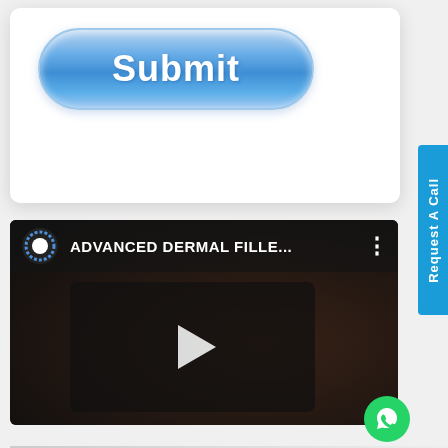[Figure (screenshot): A glossy blue rounded Submit button on a white card background]
[Figure (screenshot): A YouTube video thumbnail showing 'ADVANCED DERMAL FILLE...' with channel icon, three-dot menu, and a video play button overlay on dark background with a person receiving a facial treatment]
[Figure (infographic): Green WhatsApp chat button (circle with phone/chat icon) in bottom right corner]
Request A Call